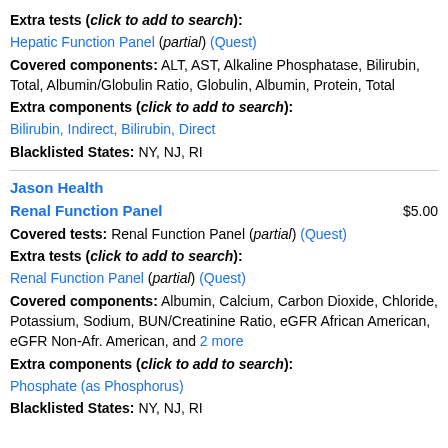Extra tests (click to add to search):
Hepatic Function Panel (partial) (Quest)
Covered components: ALT, AST, Alkaline Phosphatase, Bilirubin, Total, Albumin/Globulin Ratio, Globulin, Albumin, Protein, Total
Extra components (click to add to search):
Bilirubin, Indirect, Bilirubin, Direct
Blacklisted States: NY, NJ, RI
Jason Health
Renal Function Panel  $5.00
Covered tests: Renal Function Panel (partial) (Quest)
Extra tests (click to add to search):
Renal Function Panel (partial) (Quest)
Covered components: Albumin, Calcium, Carbon Dioxide, Chloride, Potassium, Sodium, BUN/Creatinine Ratio, eGFR African American, eGFR Non-Afr. American, and 2 more
Extra components (click to add to search):
Phosphate (as Phosphorus)
Blacklisted States: NY, NJ, RI